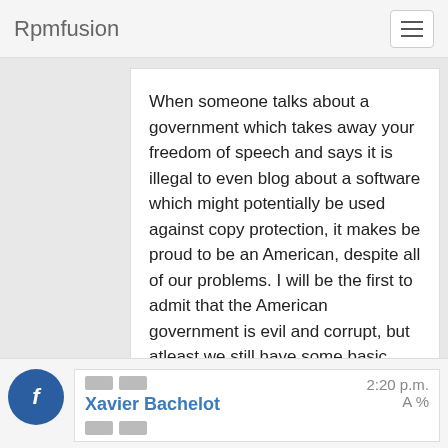Rpmfusion
When someone talks about a government which takes away your freedom of speech and says it is illegal to even blog about a software which might potentially be used against copy protection, it makes be proud to be an American, despite all of our problems. I will be the first to admit that the American government is evil and corrupt, but atleast we still have some basic human rights here like freedom of speech.
Reply   attachment ▾   👍 0 / 👎 0
Xavier Bachelot   2:20 p.m.   A%